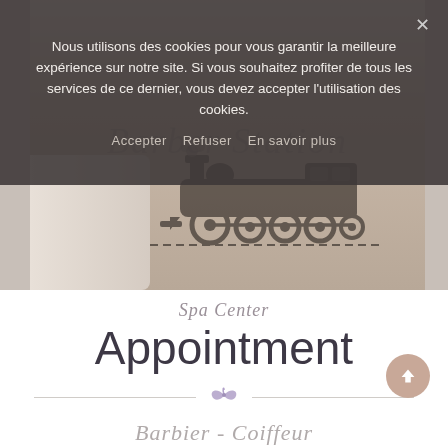Nous utilisons des cookies pour vous garantir la meilleure expérience sur notre site. Si vous souhaitez profiter de tous les services de ce dernier, vous devez accepter l'utilisation des cookies.
Accepter   Refuser   En savoir plus
[Figure (photo): Hero image of a spa/barbershop with a person wearing a dark apron with a steam train logo, white rolled towels on the left, bathroom fixtures on the right. Overlaid with 'Barber Station' script text logo.]
Spa Center
Appointment
Barbier - Coiffeur